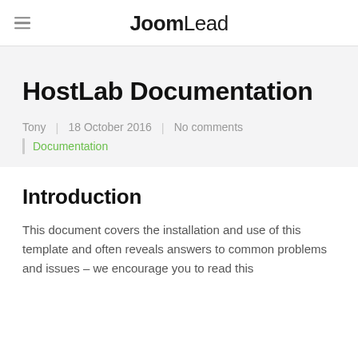JoomLead
HostLab Documentation
Tony | 18 October 2016 | No comments
Documentation
Introduction
This document covers the installation and use of this template and often reveals answers to common problems and issues – we encourage you to read this